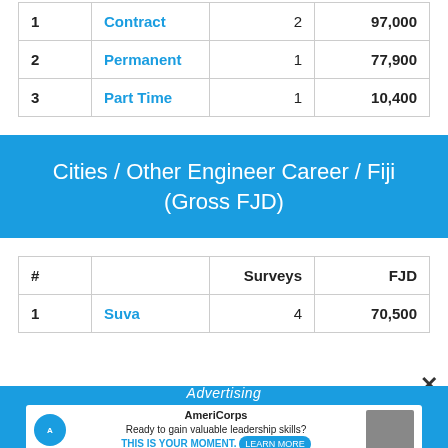| # |  | Surveys | FJD |
| --- | --- | --- | --- |
| 1 | Contract | 2 | 97,000 |
| 2 | Permanent | 1 | 77,900 |
| 3 | Part Time | 1 | 10,400 |
Cities / Other Engineer Career / Fiji (Gross FJD)
| # |  | Surveys | FJD |
| --- | --- | --- | --- |
| 1 | Suva | 4 | 70,500 |